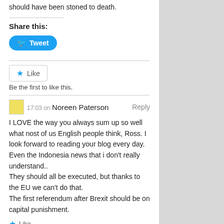PS, before anyone comments, yes, of course they should have been stoned to death.
Share this:
[Figure (other): Tweet button]
[Figure (other): Like button]
Be the first to like this.
17:03 on Noreen Paterson  Reply
I LOVE the way you always sum up so well what nost of us English people think, Ross. I look forward to reading your blog every day.
Even the Indonesia news that i don't really understand..
They should all be executed, but thanks to the EU we can't do that.
The first referendum after Brexit should be on capital punishment.
[Figure (other): Like star icon with Like text]